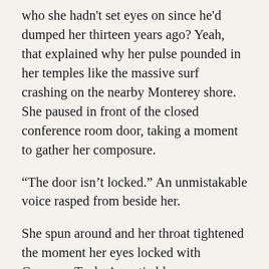who she hadn't set eyes on since he'd dumped her thirteen years ago? Yeah, that explained why her pulse pounded in her temples like the massive surf crashing on the nearby Monterey shore. She paused in front of the closed conference room door, taking a moment to gather her composure.
“The door isn’t locked.” An unmistakable voice rasped from beside her.
She spun around and her throat tightened the moment her eyes locked with Cameron Taylor’s arctic blue gaze.
How could someone look so familiar yet like a stranger? Lucy studied his lean, angular face. His strong, slightly crooked nose was the same,